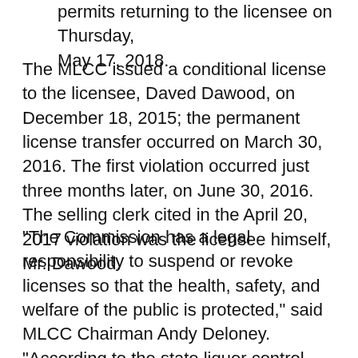permits returning to the licensee on Thursday, May 17, 2018.
The MLCC issued a conditional license to the licensee, Daved Dawood, on December 18, 2015; the permanent license transfer occurred on March 30, 2016. The first violation occurred just three months later, on June 30, 2016. The selling clerk cited in the April 20, 2017 violation was the licensee himself, Mr. Dawood.
"The Commission has a legal responsibility to suspend or revoke licenses so that the health, safety, and welfare of the public is protected," said MLCC Chairman Andy Deloney. "According to the state liquor control code, the Commission is required to suspend or revoke a license in a situation like this. After reviewing the file and considering the entirety of the record, the Commission felt that this suspension was